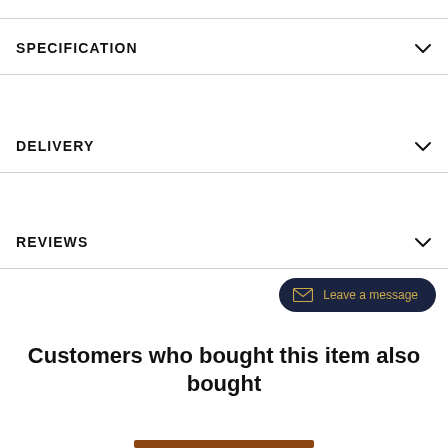SPECIFICATION
DELIVERY
REVIEWS
[Figure (other): Leave a message chat button with envelope icon and golden text on dark navy background]
Customers who bought this item also bought